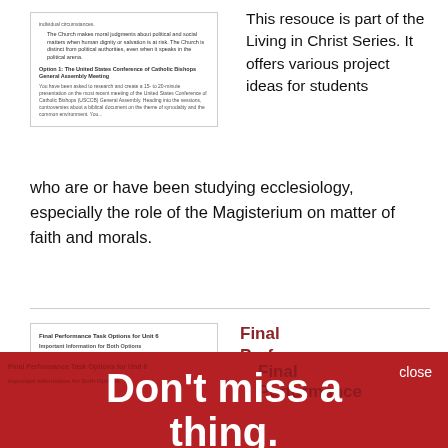[Figure (screenshot): Preview of a document page showing options including 'Option 1: The United States Conference of Catholic Bishops General Assembly Meeting' with bullet points and body text.]
This resouce is part of the Living in Christ Series. It offers various project ideas for students who are or have been studying ecclesiology, especially the role of the Magisterium on matter of faith and morals.
[Figure (screenshot): Second preview box showing 'Final Performance Task Options for Unit 6' with subheadings and body text.]
Final Performance Options for Unit 6
This resource is part of the Living in Christ Series. It offers various project ideas for students who have also studied ecclesiology, especially ecumenism and interreligious dialogue.
[Figure (infographic): Red overlay popup with 'Don't miss a thing.' heading and 'Subscribe to our emails to get useful tips and special promotions.' with a Sign Up button. Close button in top right corner.]